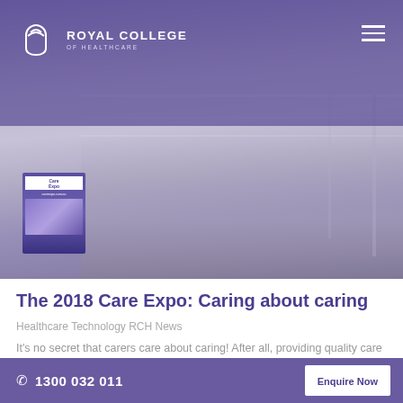[Figure (photo): Hero banner image of a Care Expo exhibition hall interior with Royal College of Healthcare logo and navigation header overlay. Purple-tinted expo hall with banners and booths visible.]
The 2018 Care Expo: Caring about caring
Healthcare Technology RCH News
It’s no secret that carers care about caring! After all, providing quality care is what being an aged care worker or disability care worker is all about. The Care Expo took place over September 14 and 15 in Brisbane and brought together a range of speakers, workshops
1300 032 011   Enquire Now